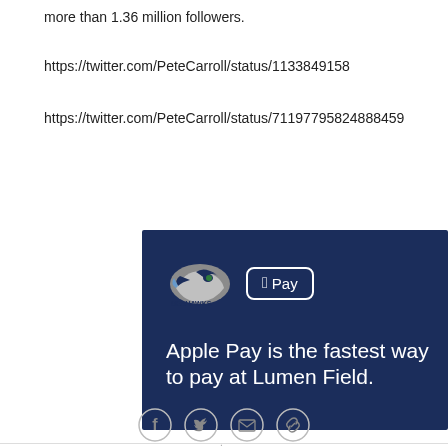more than 1.36 million followers.
https://twitter.com/PeteCarroll/status/1133849158
https://twitter.com/PeteCarroll/status/71197795824888459
[Figure (illustration): Dark navy blue advertisement showing Seattle Seahawks logo and Apple Pay logo at top, with white text reading 'Apple Pay is the fastest way to pay at Lumen Field.']
Social share icons: Facebook, Twitter, Email, Link